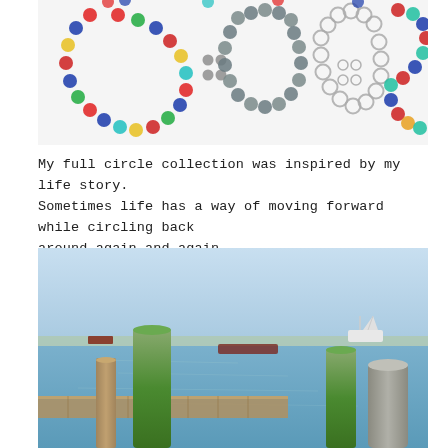[Figure (photo): Display of colorful beaded necklaces and earrings hung on a white board. Multiple necklaces featuring bright multicolored round beads in red, blue, green, yellow, teal, and gray. Several matching earring pairs are also visible.]
My full circle collection was inspired by my life story. Sometimes life has a way of moving forward while circling back around again and again.
[Figure (photo): A harbor or marina scene with a wooden dock in the foreground, green cylindrical dock pilings, calm blue water, boats moored in the background, and a distant shoreline under a light blue sky.]